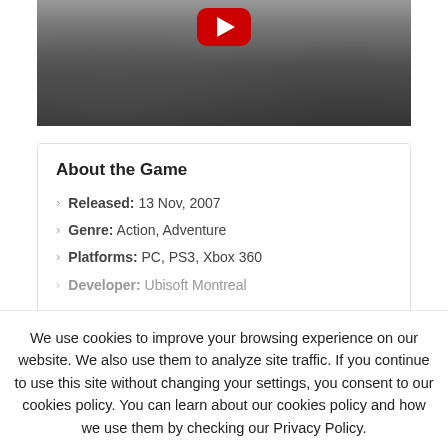[Figure (screenshot): YouTube video thumbnail showing a grayscale historical scene with a red YouTube play button at the top center]
About the Game
Released: 13 Nov, 2007
Genre: Action, Adventure
Platforms: PC, PS3, Xbox 360
Developer: Ubisoft Montreal
We use cookies to improve your browsing experience on our website. We also use them to analyze site traffic. If you continue to use this site without changing your settings, you consent to our cookies policy. You can learn about our cookies policy and how we use them by checking our Privacy Policy.
Accept
Read More